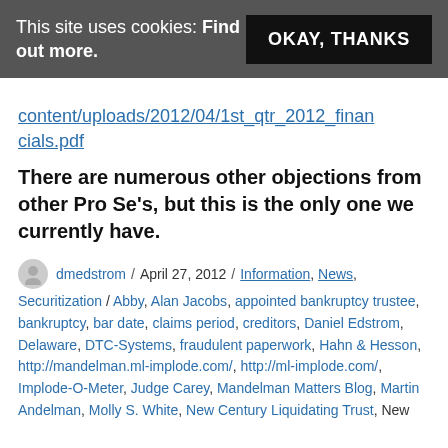This site uses cookies: Find out more. OKAY, THANKS
content/uploads/2012/04/1st_qtr_2012_financials.pdf
There are numerous other objections from other Pro Se’s, but this is the only one we currently have.
dmedstrom / April 27, 2012 / Information, News, Securitization / Abby, Alan Jacobs, appointed bankruptcy trustee, bankruptcy, bar date, claims period, creditors, Daniel Edstrom, Delaware, DTC-Systems, fraudulent paperwork, Hahn & Hesson, http://mandelman.ml-implode.com/, http://ml-implode.com/, Implode-O-Meter, Judge Carey, Mandelman Matters Blog, Martin Andelman, Molly S. White, New Century Liquidating Trust, New